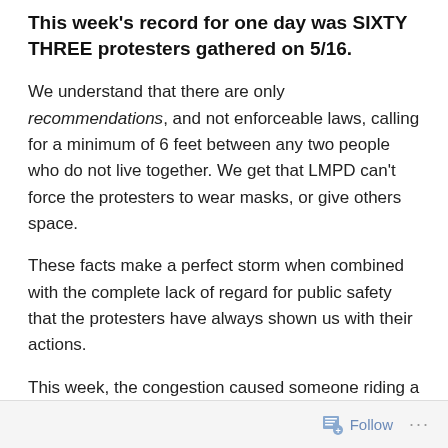This week's record for one day was SIXTY THREE protesters gathered on 5/16.
We understand that there are only recommendations, and not enforceable laws, calling for a minimum of 6 feet between any two people who do not live together. We get that LMPD can't force the protesters to wear masks, or give others space.
These facts make a perfect storm when combined with the complete lack of regard for public safety that the protesters have always shown us with their actions.
This week, the congestion caused someone riding a scooter to crash.
Follow